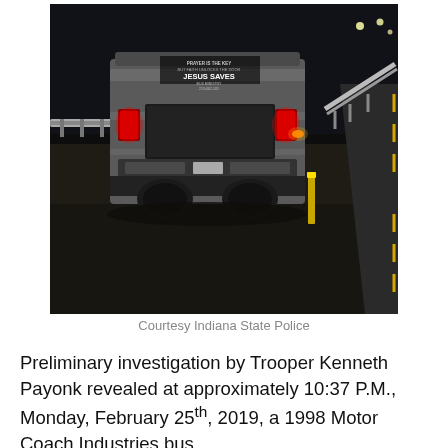[Figure (photo): Nighttime photo of a large bus (with 'JESUS SAVES' text on the rear) that has gone off the highway and is in the grassy median/shoulder area, with guardrails visible on both sides and highway lights in the background. Photo courtesy Indiana State Police.]
Courtesy Indiana State Police
Preliminary investigation by Trooper Kenneth Payonk revealed at approximately 10:37 P.M., Monday, February 25th, 2019, a 1998 Motor Coach Industries bus,